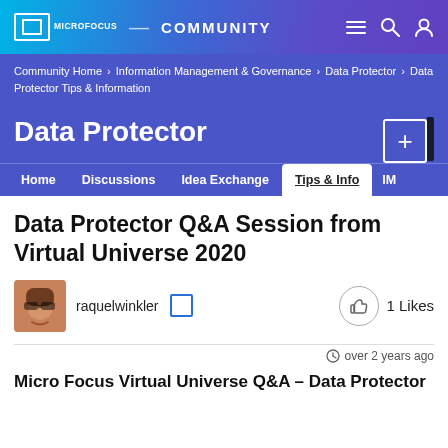Micro Focus Community
Community Home › Information Management & Governance › Data Protector › Data Protector Tips & Information
Data Protector
Home   Discussions   Idea Exchange   Tips & Info   IM
Data Protector Q&A Session from Virtual Universe 2020
raquelwinkler   1 Likes
over 2 years ago
Micro Focus Virtual Universe Q&A – Data Protector